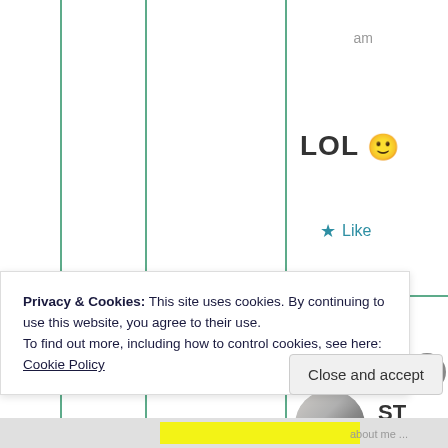am
LOL 🙂
★ Like
[Figure (photo): A user avatar photo showing a person, circular crop, grayscale tones]
ST
Sep tem ber
Privacy & Cookies: This site uses cookies. By continuing to use this website, you agree to their use. To find out more, including how to control cookies, see here: Cookie Policy
Close and accept